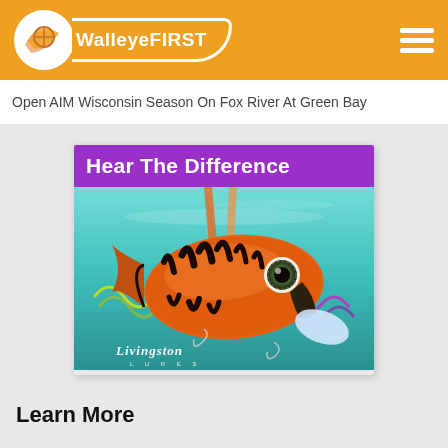WalleyeFIRST
Open AIM Wisconsin Season On Fox River At Green Bay
[Figure (illustration): Livingston Lures advertisement showing an orange/black tiger-striped crankbait fishing lure underwater with sound wave graphics and the text 'Hear The Difference' on a purple banner, with Livingston Lures branding below]
Learn More